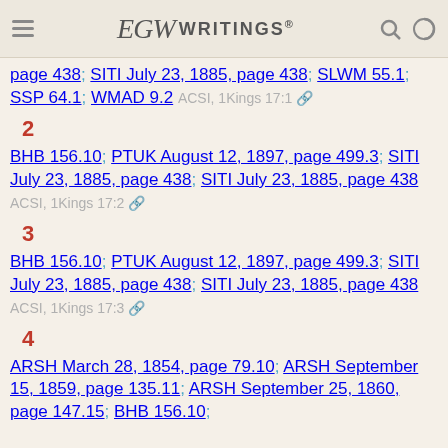EGW Writings®
page 438; SITI July 23, 1885, page 438; SLWM 55.1; SSP 64.1; WMAD 9.2 ACSI, 1Kings 17:1
2
BHB 156.10; PTUK August 12, 1897, page 499.3; SITI July 23, 1885, page 438; SITI July 23, 1885, page 438 ACSI, 1Kings 17:2
3
BHB 156.10; PTUK August 12, 1897, page 499.3; SITI July 23, 1885, page 438; SITI July 23, 1885, page 438 ACSI, 1Kings 17:3
4
ARSH March 28, 1854, page 79.10; ARSH September 15, 1859, page 135.11; ARSH September 25, 1860, page 147.15; BHB 156.10;